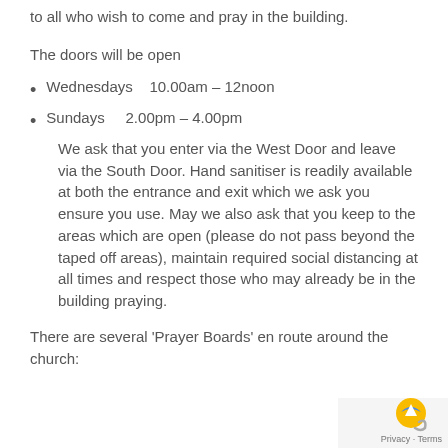to all who wish to come and pray in the building.
The doors will be open
Wednesdays   10.00am – 12noon
Sundays    2.00pm – 4.00pm
We ask that you enter via the West Door and leave via the South Door. Hand sanitiser is readily available at both the entrance and exit which we ask you ensure you use. May we also ask that you keep to the areas which are open (please do not pass beyond the taped off areas), maintain required social distancing at all times and respect those who may already be in the building praying.
There are several 'Prayer Boards' en route around the church:
[Figure (logo): Google Maps/reCAPTCHA privacy badge with yellow and blue circular icon]